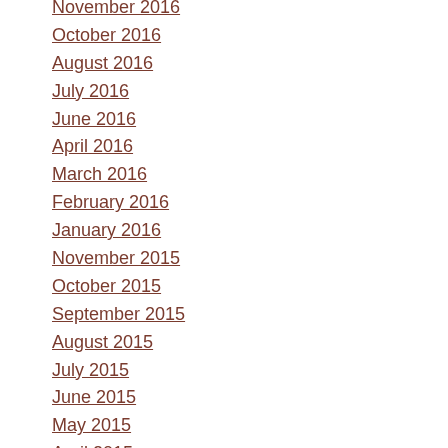November 2016
October 2016
August 2016
July 2016
June 2016
April 2016
March 2016
February 2016
January 2016
November 2015
October 2015
September 2015
August 2015
July 2015
June 2015
May 2015
April 2015
March 2015
January 2015